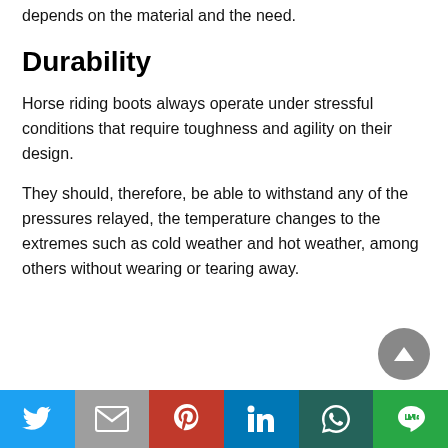depends on the material and the need.
Durability
Horse riding boots always operate under stressful conditions that require toughness and agility on their design.
They should, therefore, be able to withstand any of the pressures relayed, the temperature changes to the extremes such as cold weather and hot weather, among others without wearing or tearing away.
[Figure (other): Back-to-top navigation button (circular grey button with upward triangle arrow)]
[Figure (infographic): Social sharing bar with six buttons: Twitter (blue), Gmail (grey), Pinterest (red), LinkedIn (blue), WhatsApp (dark teal), LINE (green)]